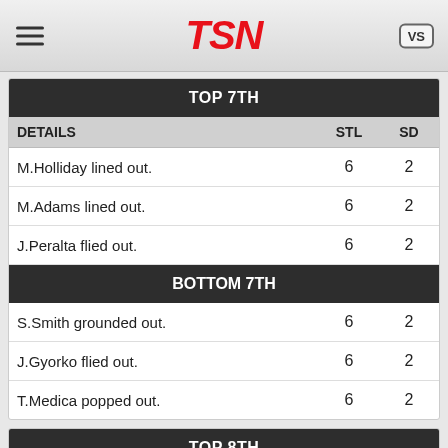TSN
| TOP 7TH |
| --- |
| DETAILS | STL | SD |
| M.Holliday lined out. | 6 | 2 |
| M.Adams lined out. | 6 | 2 |
| J.Peralta flied out. | 6 | 2 |
| BOTTOM 7TH |
| S.Smith grounded out. | 6 | 2 |
| J.Gyorko flied out. | 6 | 2 |
| T.Medica popped out. | 6 | 2 |
| TOP 8TH |
| --- |
| DETAILS | STL | SD |
| A.Pierzynski popped out. | 6 | 2 |
| O.Taveras grounded out. | 6 | 2 |
| P.Bourios flied out. | 6 | 2 |